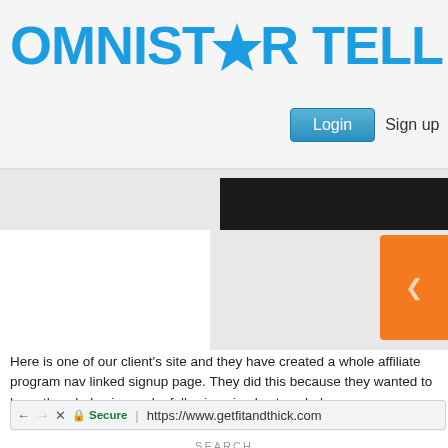[Figure (screenshot): OmniStarTell website header with logo, Login button, and Sign up link, followed by a screenshot of a client website showing a black navigation bar and orange button element]
Here is one of our client's site and they have created a whole affiliate program nav linked signup page. They did this because they wanted to have the whole sign up by following simple steps below.
[Figure (screenshot): Browser address bar showing Secure | https://www.getfitandthick.com with navigation arrows, and a SEARCH label below]